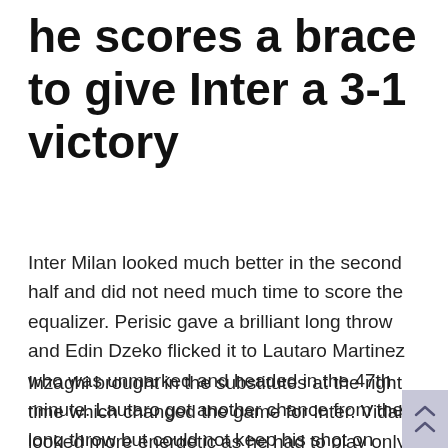he scores a brace to give Inter a 3-1 victory
Inter Milan looked much better in the second half and did not need much time to score the equalizer. Perisic gave a brilliant long throw and Edin Dzeko flicked it to Lautaro Martinez who was unmarked and headed in the 47th minute. Lautaro got another chance from the long throw but could not keep his shot on target.
Inzaghi brought in the substitutes at the right time which changed the game for Inter. Vidal looked more energetic as he had to play only 25 minutes. Inzaghi's trusted protege, Joaquin Correa came in at 74th minute and scored a thumping header in the 83rd minute and gave